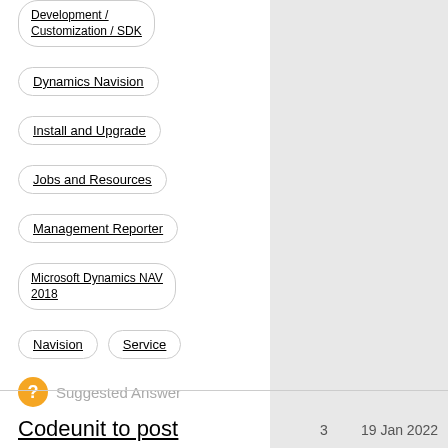Development / Customization / SDK
Dynamics Navision
Install and Upgrade
Jobs and Resources
Management Reporter
Microsoft Dynamics NAV 2018
Navision
Service
Suggested Answer
Codeunit to post
3   19 Jan 2022